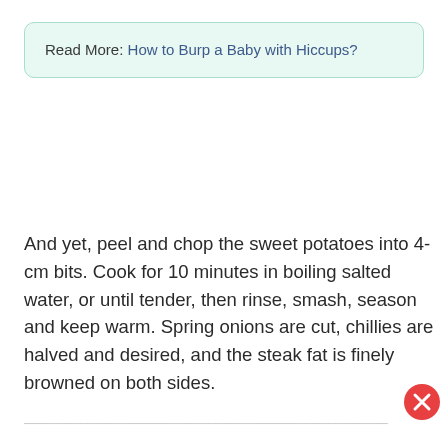Read More: How to Burp a Baby with Hiccups?
And yet, peel and chop the sweet potatoes into 4-cm bits. Cook for 10 minutes in boiling salted water, or until tender, then rinse, smash, season and keep warm. Spring onions are cut, chillies are halved and desired, and the steak fat is finely browned on both sides.